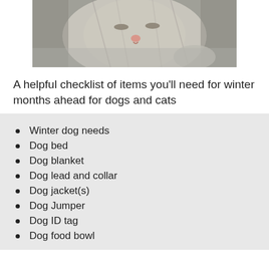[Figure (photo): Close-up photo of a grey and white cat resting on a grey knitted blanket]
A helpful checklist of items you'll need for winter months ahead for dogs and cats
Winter dog needs
Dog bed
Dog blanket
Dog lead and collar
Dog jacket(s)
Dog Jumper
Dog ID tag
Dog food bowl